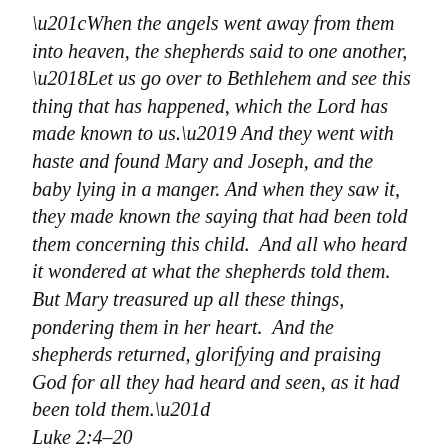“When the angels went away from them into heaven, the shepherds said to one another, ‘Let us go over to Bethlehem and see this thing that has happened, which the Lord has made known to us.’ And they went with haste and found Mary and Joseph, and the baby lying in a manger. And when they saw it, they made known the saying that had been told them concerning this child.  And all who heard it wondered at what the shepherds told them. But Mary treasured up all these things, pondering them in her heart.  And the shepherds returned, glorifying and praising God for all they had heard and seen, as it had been told them.” Luke 2:4–20
They were just out doing what they’d always